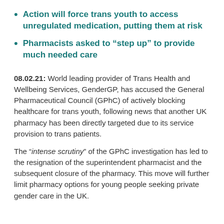Action will force trans youth to access unregulated medication, putting them at risk
Pharmacists asked to “step up” to provide much needed care
08.02.21: World leading provider of Trans Health and Wellbeing Services, GenderGP, has accused the General Pharmaceutical Council (GPhC) of actively blocking healthcare for trans youth, following news that another UK pharmacy has been directly targeted due to its service provision to trans patients.
The “intense scrutiny” of the GPhC investigation has led to the resignation of the superintendent pharmacist and the subsequent closure of the pharmacy. This move will further limit pharmacy options for young people seeking private gender care in the UK.